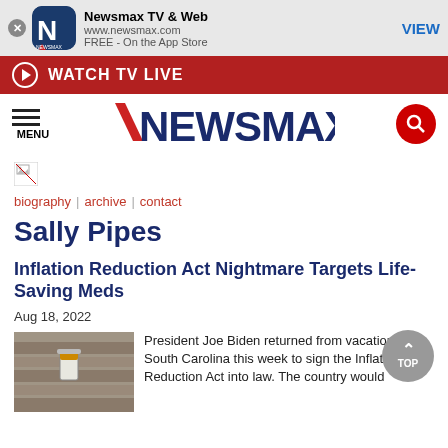[Figure (screenshot): App store banner for Newsmax TV & Web app with close button, app icon, name, URL, and VIEW button]
[Figure (screenshot): Red WATCH TV LIVE bar with play button icon]
[Figure (logo): Newsmax logo in dark blue with hamburger menu and red search icon]
[Figure (illustration): Broken image placeholder icon]
biography | archive | contact
Sally Pipes
Inflation Reduction Act Nightmare Targets Life-Saving Meds
Aug 18, 2022
President Joe Biden returned from vacation in South Carolina this week to sign the Inflation Reduction Act into law. The country would